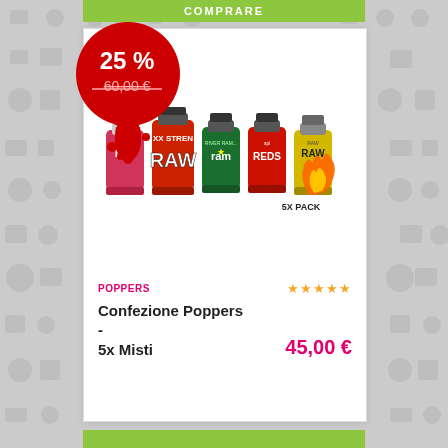[Figure (other): Green COMPRARE button bar at the top of the card]
[Figure (photo): Product photo of 5 small bottles (Ibiza, RAW, Ram, REDS, RAW yellow) with a red dripping discount bubble showing 25% off, original price 60.00 EUR crossed out, and a 5X PACK flame graphic]
POPPERS
[Figure (other): Five yellow star rating icons]
Confezione Poppers - 5x Misti
45,00 €